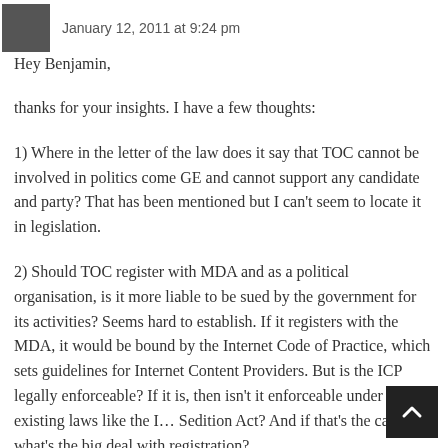January 12, 2011 at 9:24 pm
Hey Benjamin,
thanks for your insights. I have a few thoughts:
1) Where in the letter of the law does it say that TOC cannot be involved in politics come GE and cannot support any candidate and party? That has been mentioned but I can't seem to locate it in legislation.
2) Should TOC register with MDA and as a political organisation, is it more liable to be sued by the government for its activities? Seems hard to establish. If it registers with the MDA, it would be bound by the Internet Code of Practice, which sets guidelines for Internet Content Providers. But is the ICP legally enforceable? If it is, then isn't it enforceable under existing laws like the I… Sedition Act? And if that's the case, what's the big deal with registration?